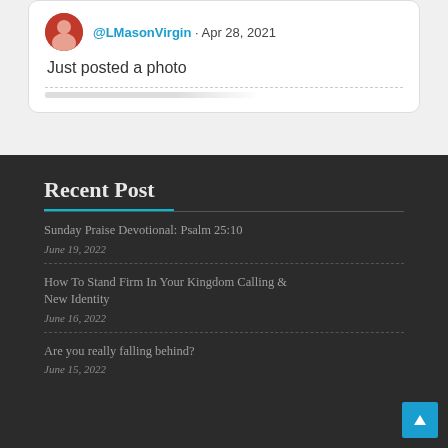[Figure (screenshot): Tweet card from @LMasonVirgin dated Apr 28, 2021 with avatar photo and text 'Just posted a photo']
Recent Post
Sunday Praise Devotional: Psalm 25:10
June 19, 2022
How To Stand Firm In Your Kingdom Calling & New Identity
June 16, 2022
Are you really falling behind?
June 15, 2022